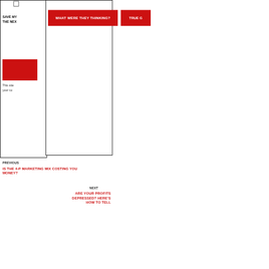[Figure (screenshot): Website screenshot showing navigation buttons: 'WHAT WERE THEY THINKING?' and 'TRUE G...' in red, with a modal/overlay box, checkbox, 'SAVE MY... THE NEX...' bold text, a red block, and 'This site... your co...' text on left panel]
PREVIOUS
IS THE 4-P MARKETING MIX COSTING YOU MONEY?
NEXT
ARE YOUR PROFITS DEPRESSED? HERE'S HOW TO TELL